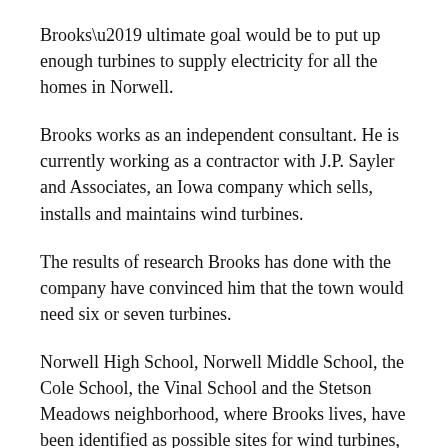Brooks’ ultimate goal would be to put up enough turbines to supply electricity for all the homes in Norwell.
Brooks works as an independent consultant. He is currently working as a contractor with J.P. Sayler and Associates, an Iowa company which sells, installs and maintains wind turbines.
The results of research Brooks has done with the company have convinced him that the town would need six or seven turbines.
Norwell High School, Norwell Middle School, the Cole School, the Vinal School and the Stetson Meadows neighborhood, where Brooks lives, have been identified as possible sites for wind turbines, but Brooks says he would want to open discussion up to the town before locations are made final.
Mariano said the selectmen may choose to form a